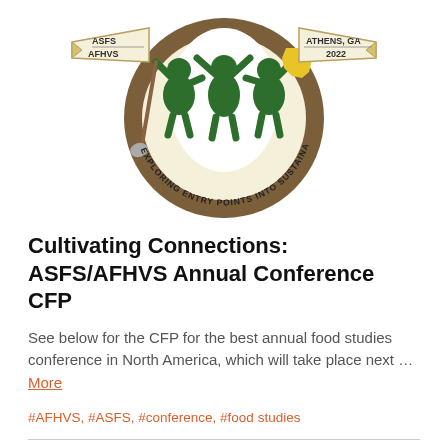[Figure (logo): ASFS/AFHVS Annual Conference 2022 logo: circular emblem with three green human figures, one holding a shovel, another holding a map of Georgia (yellow), set against a brown circular background. Banner ribbons on left read 'ASFS / AFHVS' and on right read 'ATHENS, GA / 2022'. Text arcing along the bottom circle reads 'EXPLORING ENTRY POINTS INTO SUSTAINABLE FOOD SYSTEMS'.]
Cultivating Connections: ASFS/AFHVS Annual Conference CFP
See below for the CFP for the best annual food studies conference in North America, which will take place next … More
#AFHVS, #ASFS, #conference, #food studies